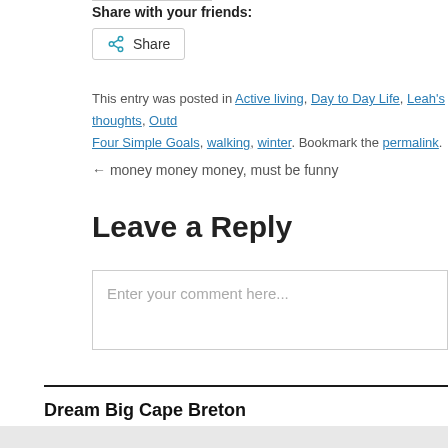Share with your friends:
[Figure (other): Share button with share icon]
This entry was posted in Active living, Day to Day Life, Leah's thoughts, Outd... Four Simple Goals, walking, winter. Bookmark the permalink.
← money money money, must be funny
Leave a Reply
Enter your comment here...
Dream Big Cape Breton